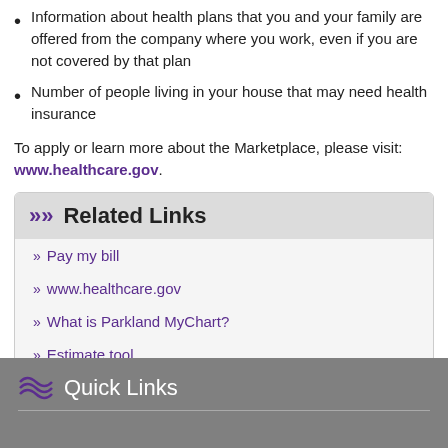Information about health plans that you and your family are offered from the company where you work, even if you are not covered by that plan
Number of people living in your house that may need health insurance
To apply or learn more about the Marketplace, please visit: www.healthcare.gov.
Related Links
Pay my bill
www.healthcare.gov
What is Parkland MyChart?
Estimate tool
Quick Links